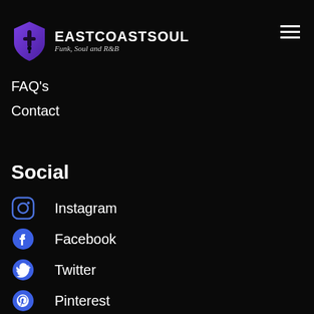Testimonials
EASTCOASTSOUL — Funk, Soul and R&B
FAQ's
Contact
Social
Instagram
Facebook
Twitter
Pinterest